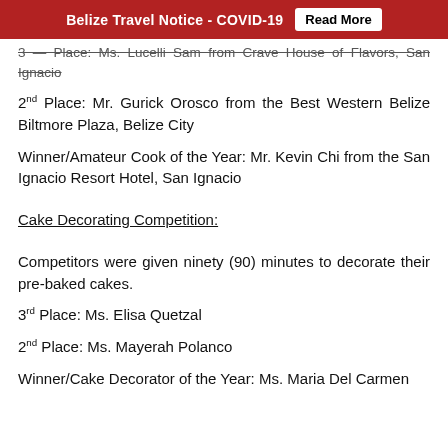Belize Travel Notice - COVID-19  Read More
3rd Place: Ms. Lucelli Sam from Crave House of Flavors, San Ignacio
2nd Place: Mr. Gurick Orosco from the Best Western Belize Biltmore Plaza, Belize City
Winner/Amateur Cook of the Year: Mr. Kevin Chi from the San Ignacio Resort Hotel, San Ignacio
Cake Decorating Competition:
Competitors were given ninety (90) minutes to decorate their pre-baked cakes.
3rd Place: Ms. Elisa Quetzal
2nd Place: Ms. Mayerah Polanco
Winner/Cake Decorator of the Year: Ms. Maria Del Carmen